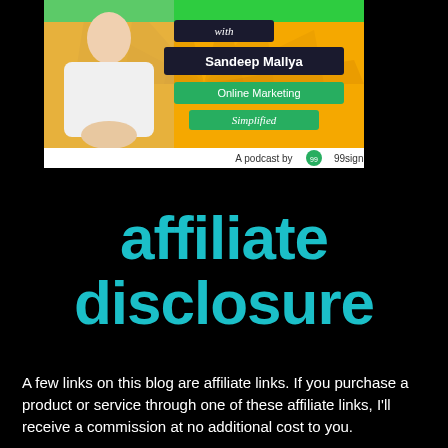[Figure (illustration): Podcast banner image showing a man in white shirt with arms crossed, with text 'with Sandeep Mallya', 'Online Marketing', 'Simplified', and 'A podcast by 99signals' on a colorful green and yellow background.]
affiliate disclosure
A few links on this blog are affiliate links. If you purchase a product or service through one of these affiliate links, I'll receive a commission at no additional cost to you.